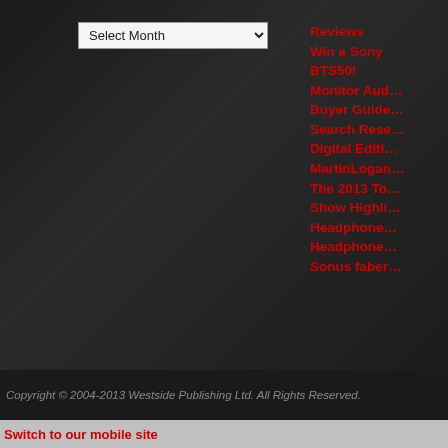Select Month (dropdown)
Reviews
Win a Sony BTS50!
Monitor Aud…
Buyer Guid…
Search Res…
Digital Editi…
MartinLogan…
The 2013 To…
Show Highli…
Headphone…
Headphone…
Sonus faber…
Click here to access CANADA HiFi's older news blog
Copyright © 2004-2013  Westside Publishing Ltd.  All Rights Reserved.
Switch to our mobile site